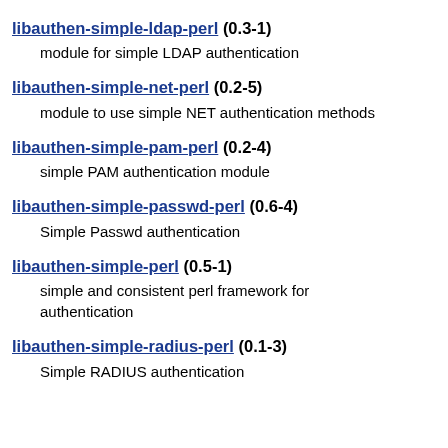libauthen-simple-ldap-perl (0.3-1)
    module for simple LDAP authentication
libauthen-simple-net-perl (0.2-5)
    module to use simple NET authentication methods
libauthen-simple-pam-perl (0.2-4)
    simple PAM authentication module
libauthen-simple-passwd-perl (0.6-4)
    Simple Passwd authentication
libauthen-simple-perl (0.5-1)
    simple and consistent perl framework for authentication
libauthen-simple-radius-perl (0.1-3)
    Simple RADIUS authentication